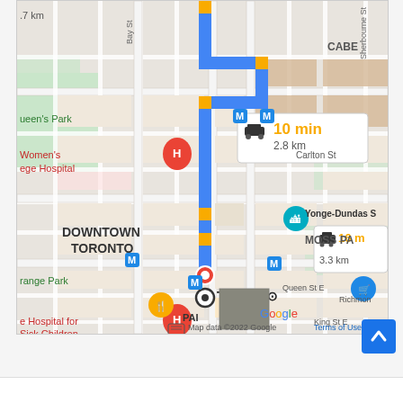[Figure (map): Google Maps screenshot showing a driving route in Downtown Toronto. Route shown in blue from a starting point near Queen's Park/Women's College Hospital area south to a destination near Toronto City Hall/Queen Street. Two route options are displayed: 10 min / 2.8 km (highlighted) and 16 min / 3.3 km. Landmarks visible: Women's College Hospital (H pin), Hospital for Sick Children (H pin), Queen's Park label, Downtown Toronto label, Yonge-Dundas Square (teal pin), Moss Park label, Old Toronto label, PAI restaurant, Google Maps branding. Map data ©2022 Google, Terms of Use.]